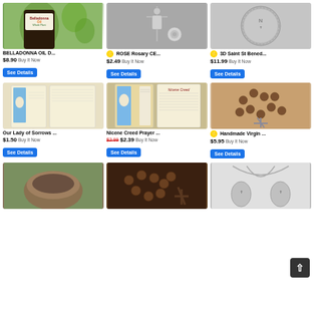[Figure (photo): Belladonna Oil bottle with green leaves]
BELLADONNA OIL D...
$8.90 Buy It Now
See Details
[Figure (photo): ROSE Rosary cross and beads on gray background]
⭐ ROSE Rosary CE...
$2.49 Buy It Now
See Details
[Figure (photo): 3D Saint St Benedict medal coin silver]
⭐ 3D Saint St Bened...
$11.99 Buy It Now
See Details
[Figure (photo): Our Lady of Sorrows prayer card and image]
Our Lady of Sorrows ...
$1.50 Buy It Now
See Details
[Figure (photo): Nicene Creed Prayer laminated card with Jesus image]
Nicene Creed Prayer ...
$2.99 $2.39 Buy It Now
See Details
[Figure (photo): Handmade Virgin rosary brown wooden beads with cross]
⭐ Handmade Virgin ...
$5.95 Buy It Now
See Details
[Figure (photo): Stone decorative bowl outside]
[Figure (photo): Dark brown rosary beads with ornate cross]
[Figure (photo): Silver Saint Benedict necklace pendant]